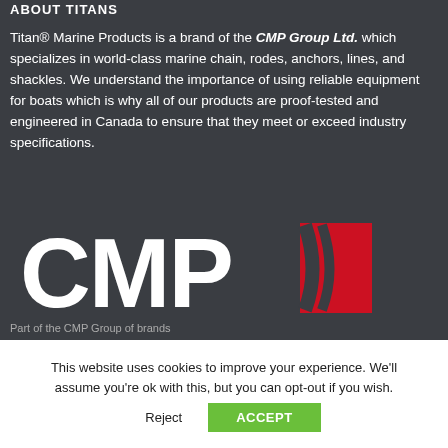ABOUT TITANS
Titan® Marine Products is a brand of the CMP Group Ltd. which specializes in world-class marine chain, rodes, anchors, lines, and shackles. We understand the importance of using reliable equipment for boats which is why all of our products are proof-tested and engineered in Canada to ensure that they meet or exceed industry specifications.
[Figure (logo): CMP Group Ltd. logo — white letters 'CMP' with a red angular arrow/chevron symbol]
Part of the CMP Group of brands
This website uses cookies to improve your experience. We'll assume you're ok with this, but you can opt-out if you wish.
Reject  ACCEPT